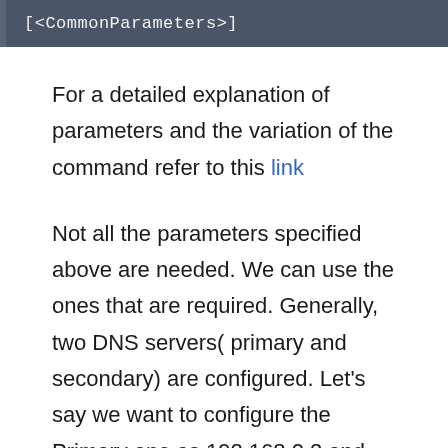[Figure (screenshot): Dark gray code block showing: [<CommonParameters>]]
For a detailed explanation of parameters and the variation of the command refer to this link
Not all the parameters specified above are needed. We can use the ones that are required. Generally, two DNS servers( primary and secondary) are configured. Let's say we want to configure the Primary one as 192.168.0.2 and the secondary one as 192.168.0.2 over the interface Wired Ethernet Connection. The command would be,